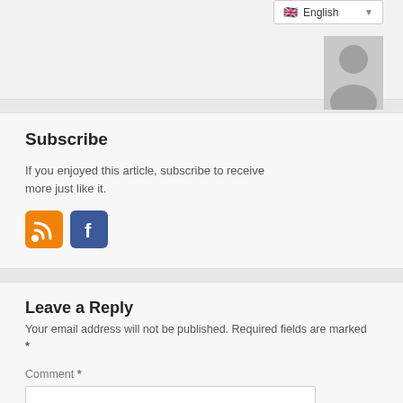[Figure (screenshot): Language selector dropdown showing English with UK flag, and a grey avatar/profile image silhouette]
Subscribe
If you enjoyed this article, subscribe to receive more just like it.
[Figure (illustration): RSS feed icon (orange) and Facebook icon (blue)]
Leave a Reply
Your email address will not be published. Required fields are marked *
Comment *